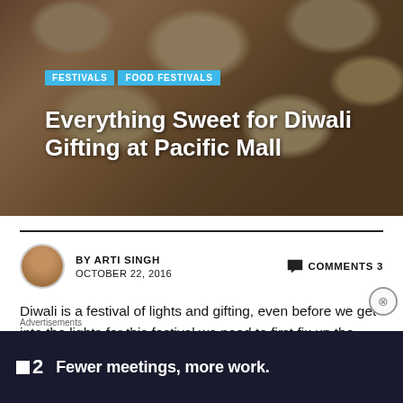[Figure (photo): Hero image showing decorative Diwali sweet gift trays with ribbons and bows on a table, viewed from above with warm tones.]
FESTIVALS   FOOD FESTIVALS
Everything Sweet for Diwali Gifting at Pacific Mall
BY ARTI SINGH   OCTOBER 22, 2016   COMMENTS 3
Diwali is a festival of lights and gifting, even before we get into the lights for this festival we need to first fix up the gifting for our loved ones. And looking for that perfect gift for our friends and family is no less than a task that leaves us completely drained before
Advertisements
[Figure (screenshot): Advertisement banner with dark background showing the Fellow app logo and text 'Fewer meetings, more work.']